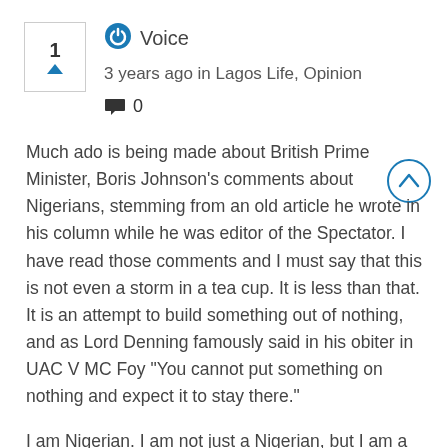[Figure (other): Vote counter box showing number 1 with upward triangle arrow, bordered box]
[Figure (logo): Blue circular power/Voice icon logo]
Voice
3 years ago in Lagos Life, Opinion
💬 0
Much ado is being made about British Prime Minister, Boris Johnson's comments about Nigerians, stemming from an old article he wrote in his column while he was editor of the Spectator. I have read those comments and I must say that this is not even a storm in a tea cup. It is less than that. It is an attempt to build something out of nothing, and as Lord Denning famously said in his obiter in UAC V MC Foy "You cannot put something on nothing and expect it to stay there."
I am Nigerian. I am not just a Nigerian, but I am a former spokesman to a former Nigerian President, as well as a